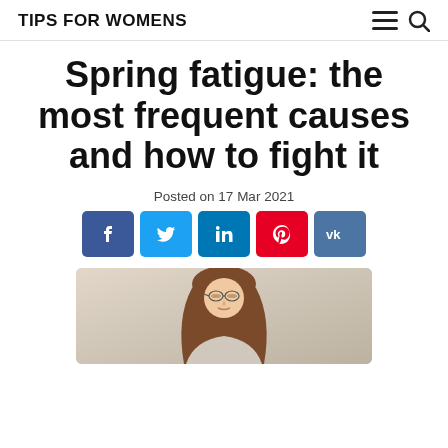TIPS FOR WOMENS
Spring fatigue: the most frequent causes and how to fight it
Posted on 17 Mar 2021
[Figure (other): Social share buttons: Facebook, Twitter, LinkedIn, Pinterest, VK]
[Figure (photo): Woman appearing tired or fatigued, resting or sleeping, with long brown hair, wearing glasses, shown from shoulders up]